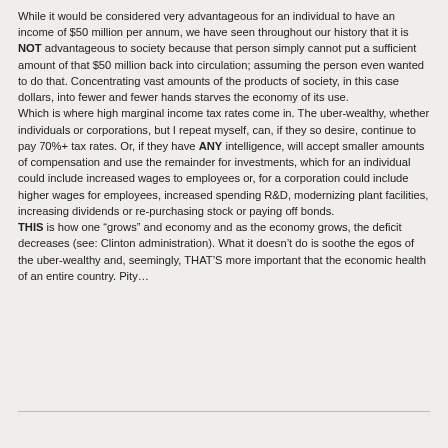While it would be considered very advantageous for an individual to have an income of $50 million per annum, we have seen throughout our history that it is NOT advantageous to society because that person simply cannot put a sufficient amount of that $50 million back into circulation; assuming the person even wanted to do that. Concentrating vast amounts of the products of society, in this case dollars, into fewer and fewer hands starves the economy of its use.
Which is where high marginal income tax rates come in. The uber-wealthy, whether individuals or corporations, but I repeat myself, can, if they so desire, continue to pay 70%+ tax rates. Or, if they have ANY intelligence, will accept smaller amounts of compensation and use the remainder for investments, which for an individual could include increased wages to employees or, for a corporation could include higher wages for employees, increased spending R&D, modernizing plant facilities, increasing dividends or re-purchasing stock or paying off bonds.
THIS is how one “grows” and economy and as the economy grows, the deficit decreases (see: Clinton administration). What it doesn’t do is soothe the egos of the uber-wealthy and, seemingly, THAT’S more important that the economic health of an entire country. Pity…